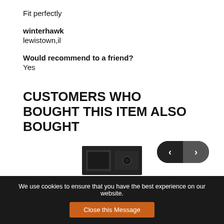Fit perfectly
winterhawk
lewistown,il
Would recommend to a friend?
Yes
CUSTOMERS WHO BOUGHT THIS ITEM ALSO BOUGHT
[Figure (other): Navigation pill buttons with left and right arrows for carousel navigation]
[Figure (photo): Partial product image at bottom of page, appears to be a black electronic device or box]
We use cookies to ensure that you have the best experience on our website.
Close this Message